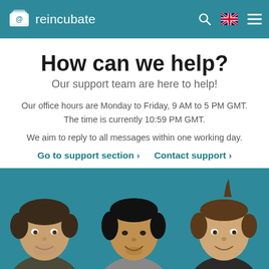reincubate
How can we help?
Our support team are here to help!
Our office hours are Monday to Friday, 9 AM to 5 PM GMT. The time is currently 10:59 PM GMT.
We aim to reply to all messages within one working day.
Go to support section ›   Contact support ›
[Figure (photo): Three smiling support team members shown from shoulders up, on a teal background]